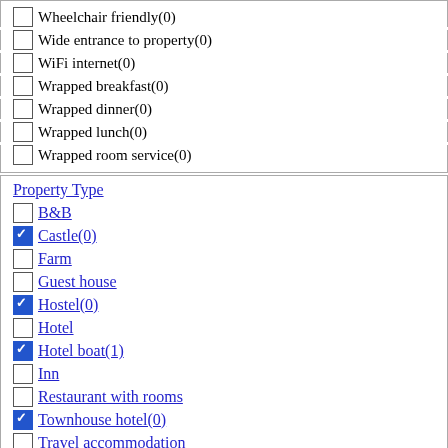Wheelchair friendly(0)
Wide entrance to property(0)
WiFi internet(0)
Wrapped breakfast(0)
Wrapped dinner(0)
Wrapped lunch(0)
Wrapped room service(0)
Property Type
B&B
Castle(0)
Farm
Guest house
Hostel(0)
Hotel
Hotel boat(1)
Inn
Restaurant with rooms
Townhouse hotel(0)
Travel accommodation
clear [x]
Type of Stay